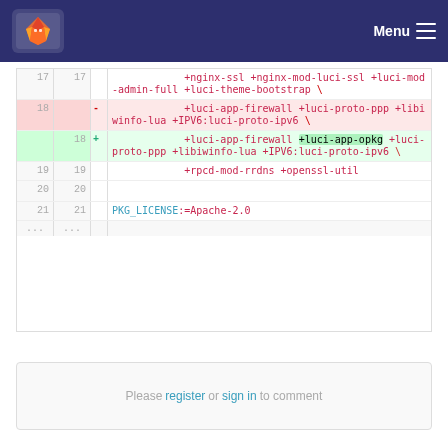GitLab logo | Menu
| old_line | new_line | op | code |
| --- | --- | --- | --- |
| 17 | 17 |  | +nginx-ssl +nginx-mod-luci-ssl +luci-mod-admin-full +luci-theme-bootstrap \ |
| 18 |  | − | +luci-app-firewall +luci-proto-ppp +libiwinfo-lua +IPV6:luci-proto-ipv6 \ |
|  | 18 | + | +luci-app-firewall +luci-app-opkg +luci-proto-ppp +libiwinfo-lua +IPV6:luci-proto-ipv6 \ |
| 19 | 19 |  | +rpcd-mod-rrdns +openssl-util |
| 20 | 20 |  |  |
| 21 | 21 |  | PKG_LICENSE:=Apache-2.0 |
| ... | ... |  |  |
Please register or sign in to comment